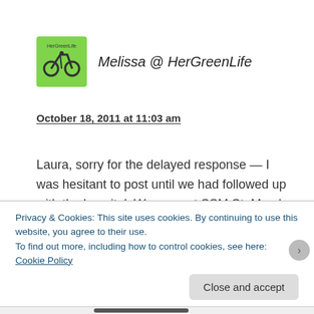[Figure (logo): Green square avatar with HerGreenLife logo (bicycle icon)]
Melissa @ HerGreenLife
October 18, 2011 at 11:03 am
Laura, sorry for the delayed response — I was hesitant to post until we had followed up with the hospital. We were at SSM St. Mary's. We wrote a letter to quality control and patient relations with our experience and concerns about sterilization procedures; they wrote
Privacy & Cookies: This site uses cookies. By continuing to use this website, you agree to their use.
To find out more, including how to control cookies, see here: Cookie Policy
Close and accept